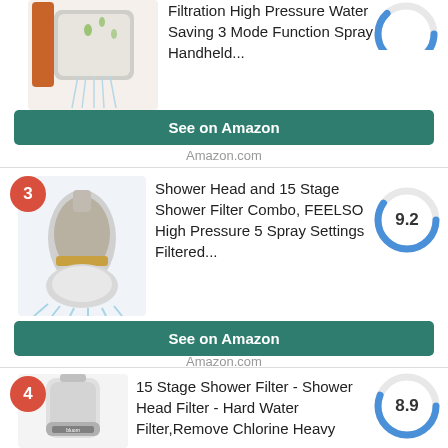[Figure (photo): Partial product card showing a filtered handheld shower head with text: Filtration High Pressure Water Saving 3 Mode Function Spray Handheld...]
Filtration High Pressure Water Saving 3 Mode Function Spray Handheld...
See on Amazon
Amazon.com
[Figure (photo): Product listing card #3: Shower Head and 15 Stage Shower Filter Combo, FEELSO High Pressure 5 Spray Settings Filtered... Score: 9.2]
Shower Head and 15 Stage Shower Filter Combo, FEELSO High Pressure 5 Spray Settings Filtered...
See on Amazon
Amazon.com
[Figure (photo): Product listing card #4: 15 Stage Shower Filter - Shower Head Filter - Hard Water Filter,Remove Chlorine Heavy... Score: 8.9]
15 Stage Shower Filter - Shower Head Filter - Hard Water Filter,Remove Chlorine Heavy